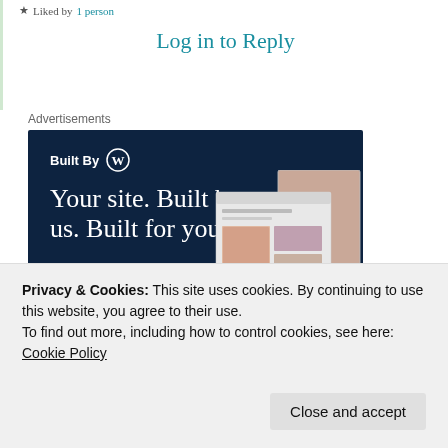Liked by 1 person
Log in to Reply
Advertisements
[Figure (illustration): WordPress 'Built By WordPress' advertisement banner with dark navy background. Text reads 'Built By [WP logo] Your site. Built by us. Built for you.' with a 'Get a quote now' button and website mockup screenshots on the right.]
Privacy & Cookies: This site uses cookies. By continuing to use this website, you agree to their use.
To find out more, including how to control cookies, see here: Cookie Policy
Close and accept